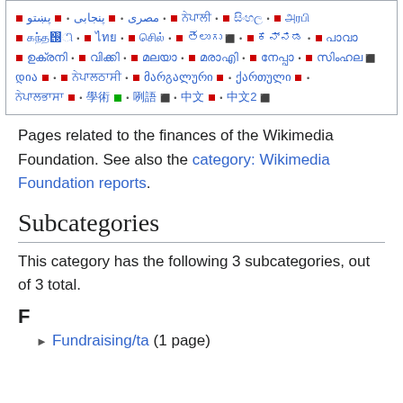Box with multilingual Wikipedia links in various scripts including مصری, پنجابی, پښتو, and Georgian scripts مარგალური, ქართული
Pages related to the finances of the Wikimedia Foundation. See also the category: Wikimedia Foundation reports.
Subcategories
This category has the following 3 subcategories, out of 3 total.
F
Fundraising/ta (1 page)